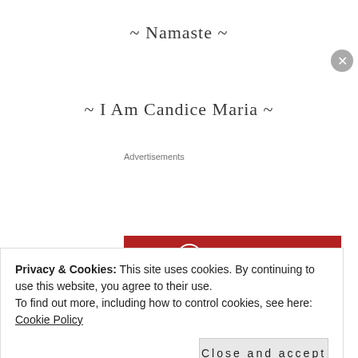~ Namaste ~
~ I Am Candice Maria ~
Advertisements
[Figure (screenshot): Longreads advertisement banner on dark red background with logo and tagline: The best stories on the web — ours, and everyone else's.]
Privacy & Cookies: This site uses cookies. By continuing to use this website, you agree to their use. To find out more, including how to control cookies, see here: Cookie Policy
Close and accept